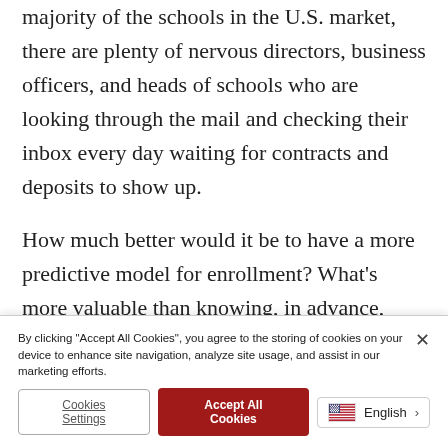majority of the schools in the U.S. market, there are plenty of nervous directors, business officers, and heads of schools who are looking through the mail and checking their inbox every day waiting for contracts and deposits to show up.
How much better would it be to have a more predictive model for enrollment? What’s more valuable than knowing, in advance, what your classes will look like? Hiring and staffing needs are
By clicking “Accept All Cookies”, you agree to the storing of cookies on your device to enhance site navigation, analyze site usage, and assist in our marketing efforts.